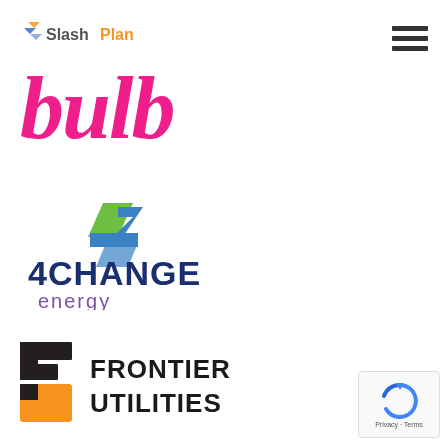[Figure (logo): SlashPlan logo with orange and blue arrow icon and text 'SlashPlan' in gray and orange]
[Figure (logo): Bulb energy company logo in cursive hot pink script lettering]
[Figure (logo): Hamburger menu icon with three horizontal dark lines]
[Figure (logo): 4Change Energy logo with a stylized number 4 in green and blue lightning bolt, text '4CHANGE' in dark blue and 'energy' in purple]
[Figure (logo): Frontier Utilities logo with a stylized F made of dark gray, black, and orange rectangles, text 'FRONTIER UTILITIES' in bold dark letters]
[Figure (logo): reCAPTCHA badge with blue circular arrow icon and text 'Privacy · Terms']